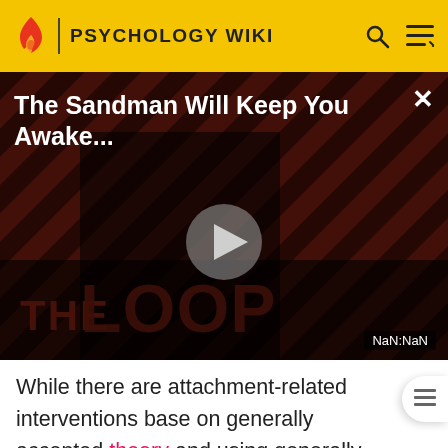PSYCHOLOGY WIKI
[Figure (screenshot): Video thumbnail for 'The Sandman Will Keep You Awake...' showing a dark-clad figure against a diagonal striped background with 'THE LOOP' text and a play button. Time display reads NaN:NaN.]
While there are attachment-related interventions based on generally accepted theory and using generally supported techniques, such as Dyadic Developmental Psychotherapy, Parent-Child Interaction Therapy (PCIT), Circle of Security, and other programs, attachment